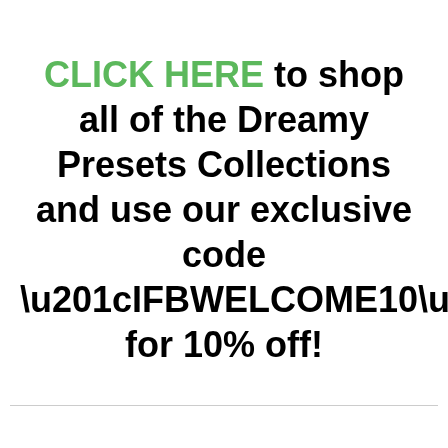CLICK HERE to shop all of the Dreamy Presets Collections and use our exclusive code “IFBWELCOME10” for 10% off!